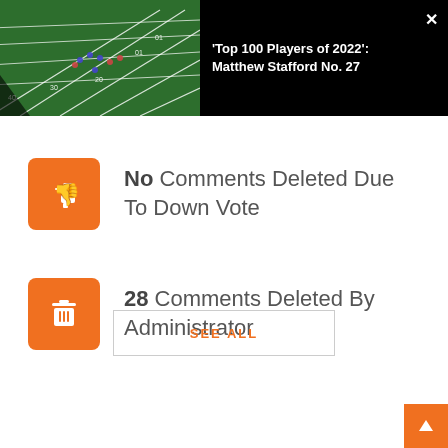[Figure (screenshot): Football field aerial view video thumbnail with black background and white text title]
'Top 100 Players of 2022': Matthew Stafford No. 27
No Comments Deleted Due To Down Vote
28 Comments Deleted By Administrator